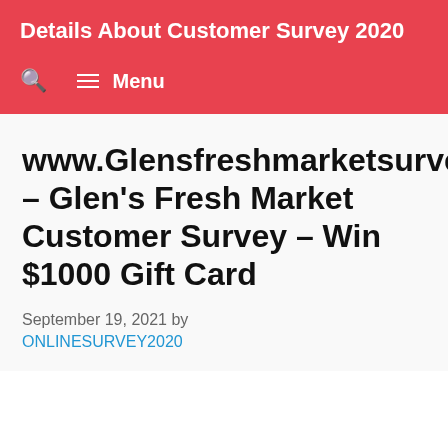Details About Customer Survey 2020
www.Glensfreshmarketsurvey.com – Glen's Fresh Market Customer Survey – Win $1000 Gift Card
September 19, 2021 by ONLINESURVEY2020